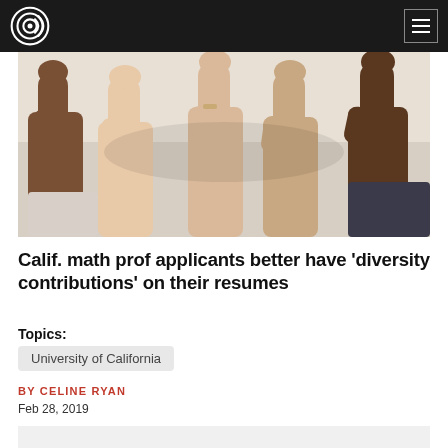[Figure (photo): Multiple diverse hands giving thumbs up gesture from below, photographed against a light background]
Calif. math prof applicants better have 'diversity contributions' on their resumes
Topics:
University of California
BY CELINE RYAN
Feb 28, 2019